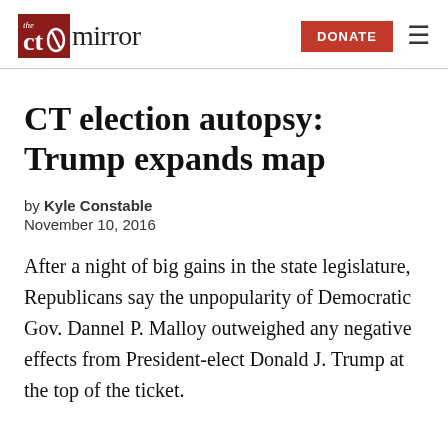the CT mirror | DONATE ☰
CT election autopsy: Trump expands map
by Kyle Constable
November 10, 2016
After a night of big gains in the state legislature, Republicans say the unpopularity of Democratic Gov. Dannel P. Malloy outweighed any negative effects from President-elect Donald J. Trump at the top of the ticket.